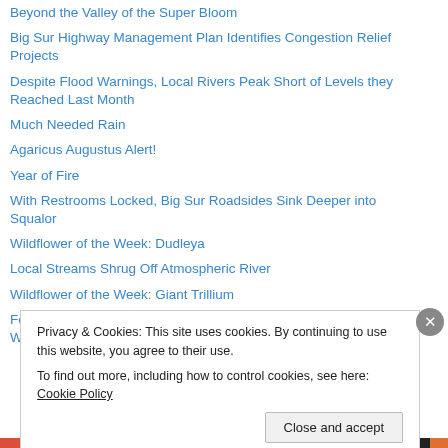Beyond the Valley of the Super Bloom
Big Sur Highway Management Plan Identifies Congestion Relief Projects
Despite Flood Warnings, Local Rivers Peak Short of Levels they Reached Last Month
Much Needed Rain
Agaricus Augustus Alert!
Year of Fire
With Restrooms Locked, Big Sur Roadsides Sink Deeper into Squalor
Wildflower of the Week: Dudleya
Local Streams Shrug Off Atmospheric River
Wildflower of the Week: Giant Trillium
Forest Service Lifts Fire Restrictions Just in Time for a Red Flag Warning
Privacy & Cookies: This site uses cookies. By continuing to use this website, you agree to their use.
To find out more, including how to control cookies, see here: Cookie Policy
Close and accept